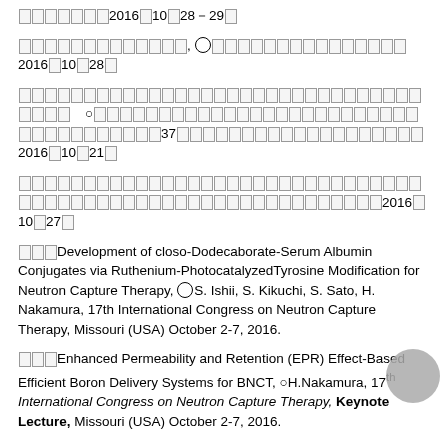□□□□□□□2016□10□28-29□
□□□□□□□□□□□□□, ○□□□□□□□□□□□□□□□2016□10□28□
□□□□□□□□□□□□□□□□□□□□□□□□□□□□□□□□□□□  ○□□□□□□□□□□□□□□□□□□□□□□□□□□□□□□37□□□□□□□□□□□□□□□□□□□2016□10□21□
□□□□□□□□□□□□□□□□□□□□□□□□□□□□□□□□□□□□□□□□□□□□□□□□□□□□□□□□2016□10□27□
□□□Development of closo-Dodecaborate-Serum Albumin Conjugates via Ruthenium-PhotocatalyzedTyrosine Modification for Neutron Capture Therapy, ○S. Ishii, S. Kikuchi, S. Sato, H. Nakamura, 17th International Congress on Neutron Capture Therapy, Missouri (USA) October 2-7, 2016.
□□□Enhanced Permeability and Retention (EPR) Effect-Based Efficient Boron Delivery Systems for BNCT, ○H.Nakamura, 17th International Congress on Neutron Capture Therapy, Keynote Lecture, Missouri (USA) October 2-7, 2016.